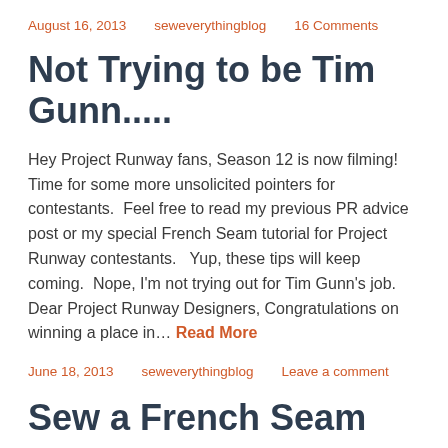August 16, 2013   seweverythingblog   16 Comments
Not Trying to be Tim Gunn.....
Hey Project Runway fans, Season 12 is now filming! Time for some more unsolicited pointers for contestants.  Feel free to read my previous PR advice post or my special French Seam tutorial for Project Runway contestants.   Yup, these tips will keep coming.  Nope, I'm not trying out for Tim Gunn's job. Dear Project Runway Designers, Congratulations on winning a place in… Read More
June 18, 2013   seweverythingblog   Leave a comment
Sew a French Seam